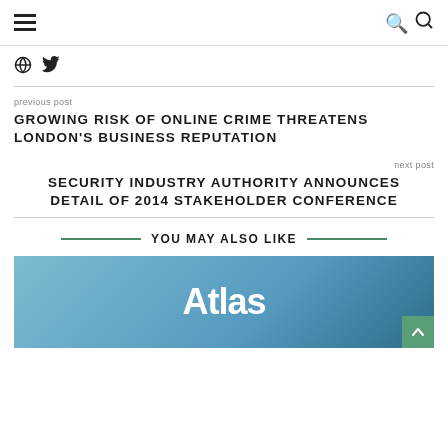hamburger menu | search icon
globe icon | twitter icon
previous post
GROWING RISK OF ONLINE CRIME THREATENS LONDON'S BUSINESS REPUTATION
next post
SECURITY INDUSTRY AUTHORITY ANNOUNCES DETAIL OF 2014 STAKEHOLDER CONFERENCE
YOU MAY ALSO LIKE
[Figure (photo): Photo of group of people in front of Atlas banner/backdrop]